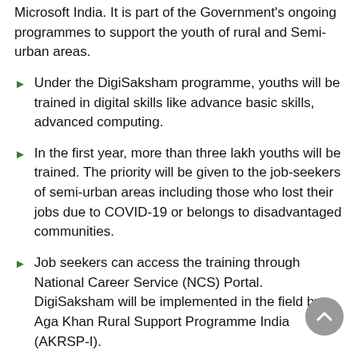Microsoft India. It is part of the Government's ongoing programmes to support the youth of rural and Semi-urban areas.
Under the DigiSaksham programme, youths will be trained in digital skills like advance basic skills, advanced computing.
In the first year, more than three lakh youths will be trained. The priority will be given to the job-seekers of semi-urban areas including those who lost their jobs due to COVID-19 or belongs to disadvantaged communities.
Job seekers can access the training through National Career Service (NCS) Portal. DigiSaksham will be implemented in the field by Aga Khan Rural Support Programme India (AKRSP-I).
The Ministry of Labour and Employment is implementing the National Career Service (NCS) Project to provide a variety of employment related